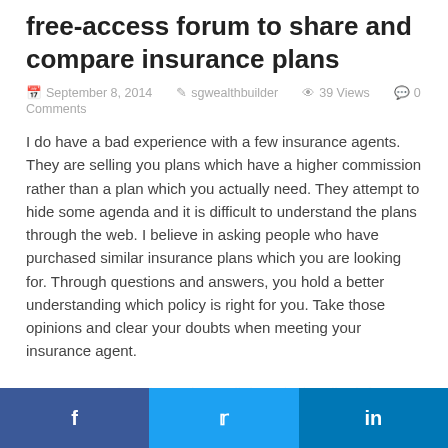free-access forum to share and compare insurance plans
September 8, 2014  sgwealthbuilder  39 Views  0 Comments
I do have a bad experience with a few insurance agents.  They are selling you plans which have a higher commission rather than a plan which you actually need. They attempt to hide some agenda and it is difficult to understand the plans through the web. I believe in asking people who have purchased similar insurance plans which you are looking for. Through questions and answers, you hold a better understanding which policy is right for you. Take those opinions and clear your doubts when meeting your insurance agent.
Because Confused Now is a collaboratively edited, free-access, free content community to share your experience of policies you have purchased. It is an open discussion platform, designed to make collaboration easy. It is a one stop portal where you are able to see all insurance plans in Singapore. Free free to add in any